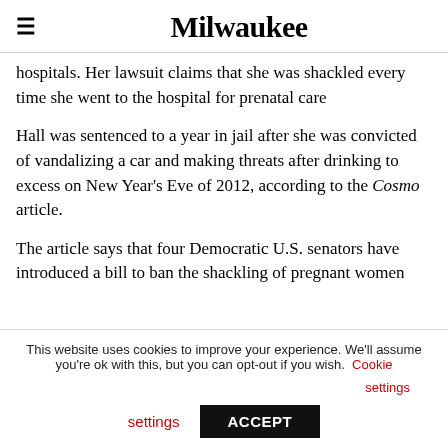Milwaukee
hospitals. Her lawsuit claims that she was shackled every time she went to the hospital for prenatal care
Hall was sentenced to a year in jail after she was convicted of vandalizing a car and making threats after drinking to excess on New Year’s Eve of 2012, according to the Cosmo article.
The article says that four Democratic U.S. senators have introduced a bill to ban the shackling of pregnant women
This website uses cookies to improve your experience. We’ll assume you’re ok with this, but you can opt-out if you wish. Cookie settings ACCEPT